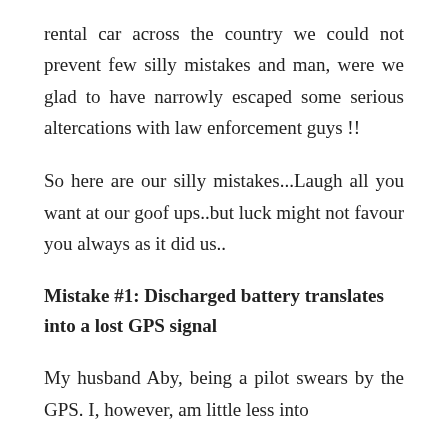rental car across the country we could not prevent few silly mistakes and man, were we glad to have narrowly escaped some serious altercations with law enforcement guys !!
So here are our silly mistakes...Laugh all you want at our goof ups..but luck might not favour you always as it did us..
Mistake #1: Discharged battery translates into a lost GPS signal
My husband Aby, being a pilot swears by the GPS. I, however, am little less into